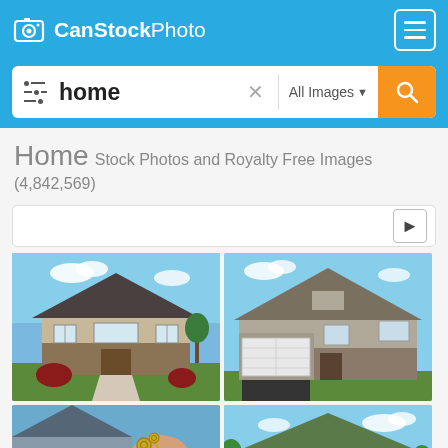CanStockPhoto [logo] [hamburger menu]
home [search bar] All Images [search button]
Home Stock Photos and Royalty Free Images (4,842,569)
[Figure (screenshot): Filter/sort bar with right arrow button]
[Figure (photo): Two-story brick and stone suburban house with manicured lawn, red flowering bushes, blue sky with clouds]
[Figure (photo): Large two-car garage colonial house with stone and gray siding, black driveway, blue sky]
[Figure (photo): Hand holding keys in front of a house, real estate concept]
[Figure (photo): Green-roofed suburban house with blue sky and trees]